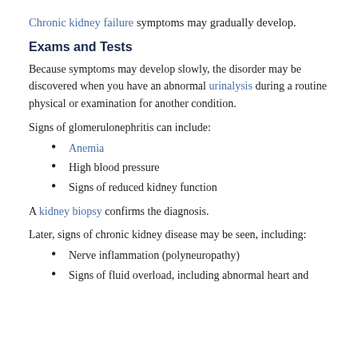Chronic kidney failure symptoms may gradually develop.
Exams and Tests
Because symptoms may develop slowly, the disorder may be discovered when you have an abnormal urinalysis during a routine physical or examination for another condition.
Signs of glomerulonephritis can include:
Anemia
High blood pressure
Signs of reduced kidney function
A kidney biopsy confirms the diagnosis.
Later, signs of chronic kidney disease may be seen, including:
Nerve inflammation (polyneuropathy)
Signs of fluid overload, including abnormal heart and